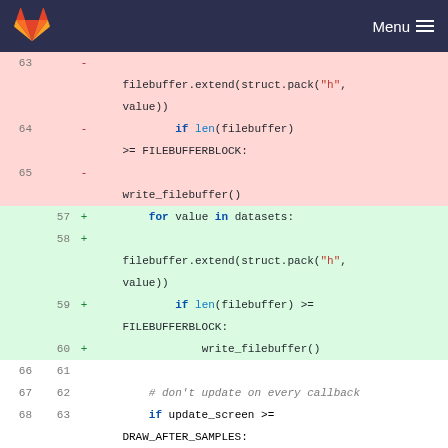GitLab Menu
[Figure (screenshot): Git diff view showing code changes. Removed lines (pink background) show lines 63-65 with filebuffer.extend(struct.pack("h", value)) and if len(filebuffer) >= FILEBUFFERBLOCK: and write_filebuffer(). Added lines (green background) show lines 57-60 with for value in datasets:, filebuffer.extend(struct.pack("h", value)), if len(filebuffer) >= FILEBUFFERBLOCK:, write_filebuffer(). Unchanged lines 66-68 / 61-63 show blank line, comment # don't update on every callback, if update_screen >= DRAW_AFTER_SAMPLES:. Hunk line shows @@ -74,14 +69,7 @@ def write_filebuffer():]